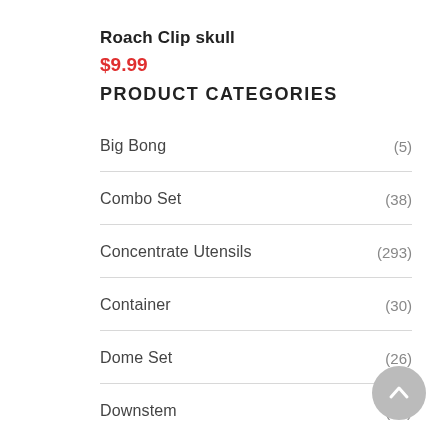Roach Clip skull
$9.99
PRODUCT CATEGORIES
Big Bong (5)
Combo Set (38)
Concentrate Utensils (293)
Container (30)
Dome Set (26)
Downstem (65)